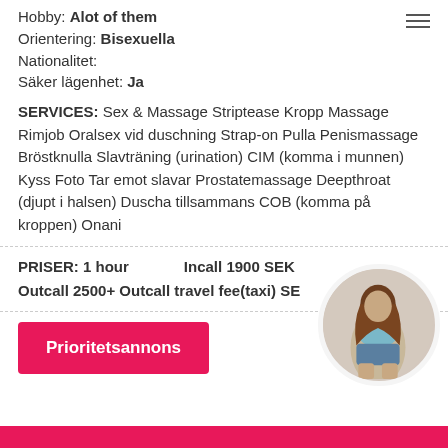Hobby: Alot of them
Orientering: Bisexuella
Nationalitet:
Säker lägenhet: Ja
SERVICES: Sex & Massage Striptease Kropp Massage Rimjob Oralsex vid duschning Strap-on Pulla Penismassage Bröstknulla Slavträning (urination) CIM (komma i munnen) Kyss Foto Tar emot slavar Prostatemassage Deepthroat (djupt i halsen) Duscha tillsammans COB (komma på kroppen) Onani
PRISER: 1 hour   Incall 1900 SEK Outcall 2500+ Outcall travel fee(taxi) SEK
Prioritetsannons
[Figure (photo): Circular cropped photo of a woman in a blue top and denim shorts, viewed from behind/side]